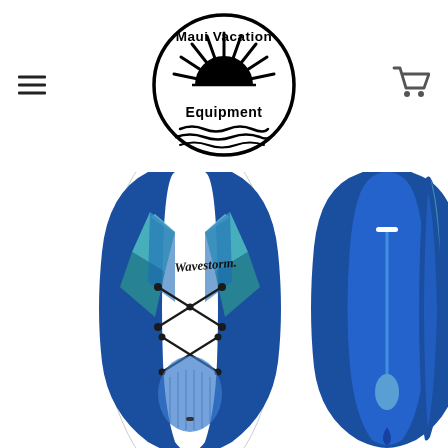[Figure (logo): Maui Vacation Equipment circular logo with sun and waves design]
[Figure (photo): Three views of a Wavestorm stand-up paddleboard (SUP): top view showing blue and teal design with bungee cords, bottom view showing solid blue underside with paddle, and side profile view of the blue board]